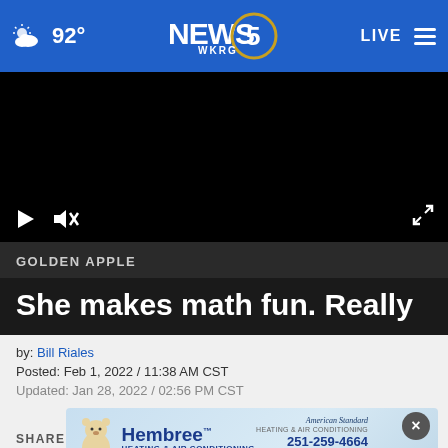WKRG NEWS 5 — 92° LIVE
[Figure (screenshot): Black video player with play button and mute icon on bottom left, fullscreen icon on bottom right]
GOLDEN APPLE
She makes math fun. Really
by: Bill Riales
Posted: Feb 1, 2022 / 11:38 AM CST
Updated: Jan 28, 2022 / 02:56 PM CST
[Figure (illustration): Hembree Heating & Air Conditioning advertisement with bear mascot and American Standard logo. Phone: 251-259-4664, Call Today!]